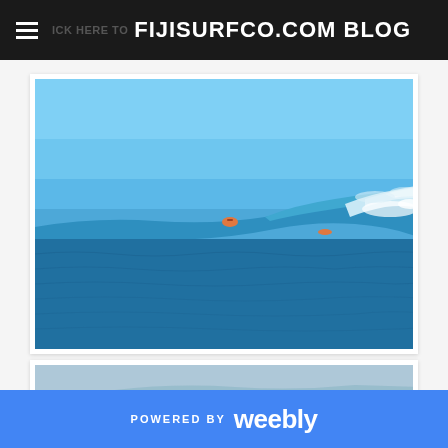FIJISURFCO.COM BLOG
[Figure (photo): Aerial/distant view of surfers riding a large ocean wave in Fiji with clear blue sky and deep blue ocean water. A long barreling wave breaks to the right, with at least two surfers visible.]
[Figure (photo): Partially visible second photo showing what appears to be a blurry ocean/surfing scene in muted blue-grey tones.]
POWERED BY weebly